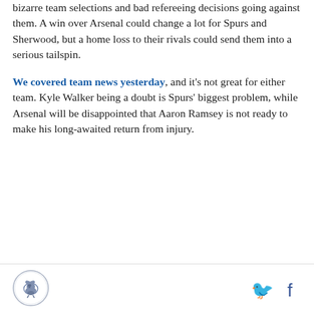bizarre team selections and bad refereeing decisions going against them. A win over Arsenal could change a lot for Spurs and Sherwood, but a home loss to their rivals could send them into a serious tailspin.
We covered team news yesterday, and it's not great for either team. Kyle Walker being a doubt is Spurs' biggest problem, while Arsenal will be disappointed that Aaron Ramsey is not ready to make his long-awaited return from injury.
[Figure (logo): Circular logo with bird illustration, footer left]